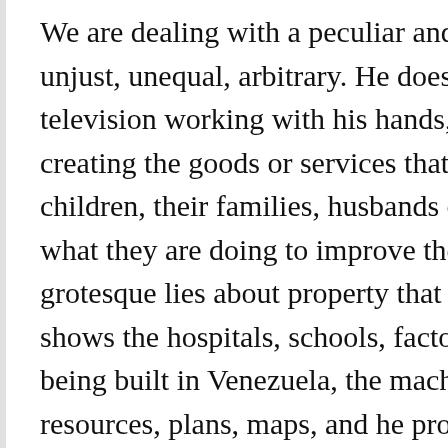We are dealing with a peculiar and horrible ensemble of forms of unjust, unequal, arbitrary. He doesn't simply talk about the workers television working with his hands, showing his energy, his knowledge creating the goods or services that are essential to human beings children, their families, husbands or wives, their kin, where they li what they are doing to improve themselves, their age, salary, futu grotesque lies about property that are being spread by the imperi shows the hospitals, schools, factories, boys and girls; he provide being built in Venezuela, the machinery, figures on the growth of resources, plans, maps, and he provides news on the latest gas c measure adopted by Congress: the law nationalizing the 60 key c services each year to PDVSA, the state oil company, for a value o They were not private property; Venezuela's neo-liberal governme resources belonging to PDVSA.
I had not seen such a clear transformation into images of an idea Chávez doesn't just have a special talent to capture and transmit processes but he accompanies it with a prodigious memory; it is n a phrase, a verse, a musical inflection; he combines words that e speaks of a socialism that seeks justice and equality: "while cult